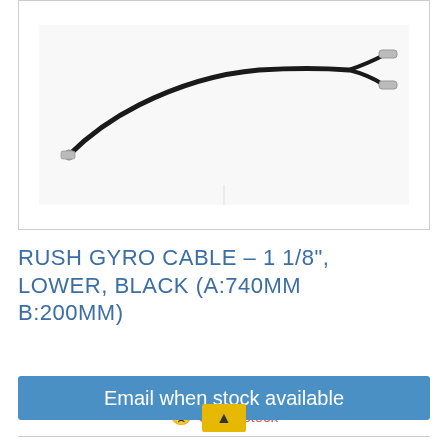[Figure (photo): Product photo of a Rush Gyro Cable – black cable with metal end fittings, one end splits into two branches with barrel connectors]
RUSH GYRO CABLE – 1 1/8", LOWER, BLACK (A:740MM B:200MM)
Part# 8121
Out of stock
Email when stock available